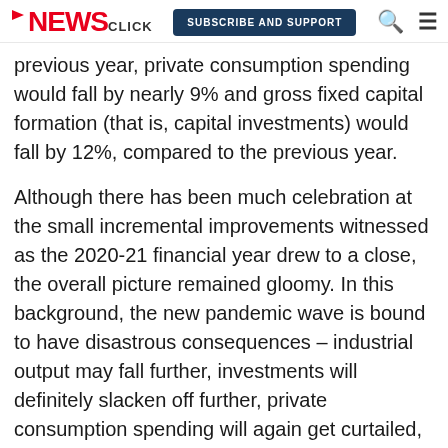NewsClick | SUBSCRIBE AND SUPPORT
previous year, private consumption spending would fall by nearly 9% and gross fixed capital formation (that is, capital investments) would fall by 12%, compared to the previous year.
Although there has been much celebration at the small incremental improvements witnessed as the 2020-21 financial year drew to a close, the overall picture remained gloomy. In this background, the new pandemic wave is bound to have disastrous consequences – industrial output may fall further, investments will definitely slacken off further, private consumption spending will again get curtailed, and more people will lose jobs. This is the scenario that looms over India now.
What Needs to be Done